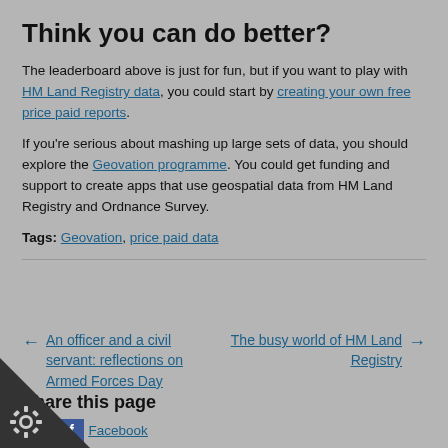Think you can do better?
The leaderboard above is just for fun, but if you want to play with HM Land Registry data, you could start by creating your own free price paid reports.
If you're serious about mashing up large sets of data, you should explore the Geovation programme. You could get funding and support to create apps that use geospatial data from HM Land Registry and Ordnance Survey.
Tags: Geovation, price paid data
← An officer and a civil servant: reflections on Armed Forces Day
The busy world of HM Land Registry →
Share this page
Twitter  Facebook